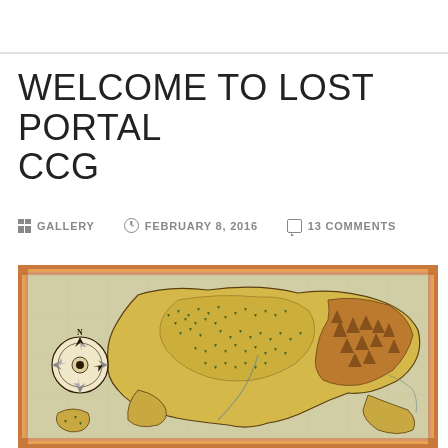WELCOME TO LOST PORTAL CCG
GALLERY  FEBRUARY 8, 2016  13 COMMENTS
[Figure (map): Fantasy world map with compass rose, showing landmasses with mountains, forests (tree symbols), and terrain features, framed with an orange/gold decorative border on aged parchment background.]